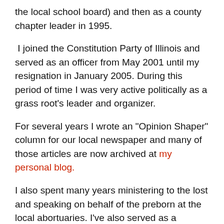the local school board) and then as a county chapter leader in 1995.
I joined the Constitution Party of Illinois and served as an officer from May 2001 until my resignation in January 2005. During this period of time I was very active politically as a grass root's leader and organizer.
For several years I wrote an "Opinion Shaper" column for our local newspaper and many of those articles are now archived at my personal blog.
I also spent many years ministering to the lost and speaking on behalf of the preborn at the local abortuaries. I've also served as a volunteer with Christians for Personhood.
But my greatest love is for the truths of Scripture and